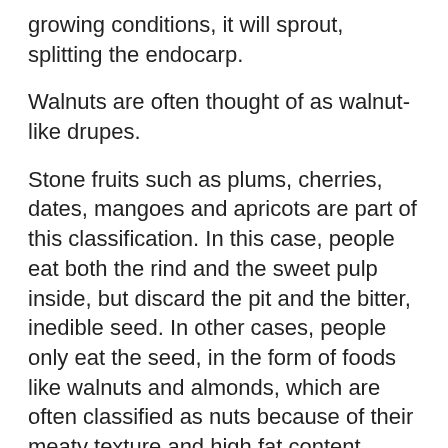growing conditions, it will sprout, splitting the endocarp.
Walnuts are often thought of as walnut-like drupes.
Stone fruits such as plums, cherries, dates, mangoes and apricots are part of this classification. In this case, people eat both the rind and the sweet pulp inside, but discard the pit and the bitter, inedible seed. In other cases, people only eat the seed, in the form of foods like walnuts and almonds, which are often classified as nuts because of their meaty texture and high fat content.
The rainiest cherries are drupes.